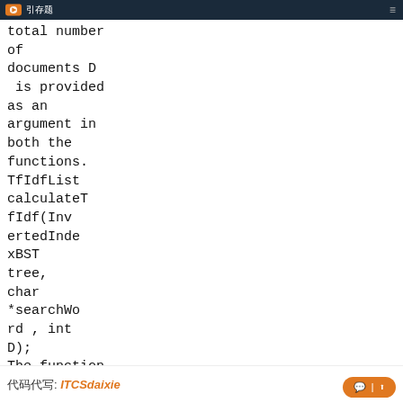引存题
total number of documents D is provided as an argument in both the functions. TfIdfList calculateTfIdf(InvertedIndexBST tree, char *searchWord , int D); The function returns an ordered list where each node
代码代写: ITCSdaixie